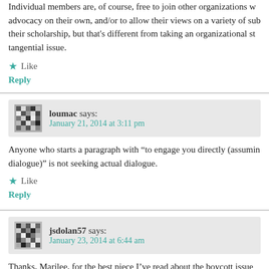Individual members are, of course, free to join other organizations w advocacy on their own, and/or to allow their views on a variety of sub their scholarship, but that's different from taking an organizational st tangential issue.
Like
Reply
loumac says: January 21, 2014 at 3:11 pm
Anyone who starts a paragraph with “to engage you directly (assumin dialogue)” is not seeking actual dialogue.
Like
Reply
jsdolan57 says: January 23, 2014 at 6:44 am
Thanks, Marilee, for the best piece I've read about the boycott issue ye Given the basic disparagement of the arts and humanities across the